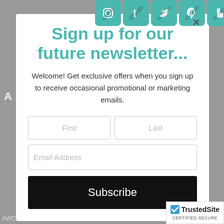[Figure (screenshot): Newsletter signup popup modal overlay on a website. Contains social media icons (Instagram, Facebook, Twitter, Pinterest, Houzz) at top, a teal-colored heading 'Sign up for our future newsletter...', descriptive text, First/Last name input fields, Email Address field, and a black Subscribe button. A TrustedSite certified secure badge appears in bottom-right. Background shows a blurred website page.]
Sign up for our future newsletter...
Welcome! Get exclusive offers when you sign up to receive occasional promotional or marketing emails.
AWC has added a booth a the new local "Sm...